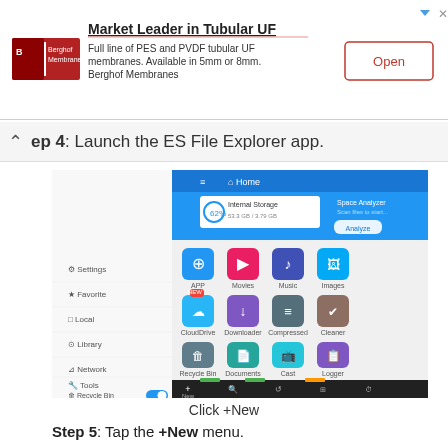[Figure (screenshot): Advertisement banner for Berghof Membranes: 'Market Leader in Tubular UF'. Includes logo, text about PES and PVDF tubular UF membranes available in 5mm or 8mm, and an Open button.]
Step 4: Launch the ES File Explorer app.
[Figure (screenshot): ES File Explorer app screenshot showing the home screen with sidebar menu (Settings, Favorite, Local, Library, Network, Tools, Recycle Bin) and app icons (APP, Movies, Music, Images, CloudDrive, Downloader, Compressed, Cleaner, Recycle Bin, Documents, Cast, Logger) and a bottom navigation bar with +New highlighted.]
Click +New
Step 5: Tap the +New menu.